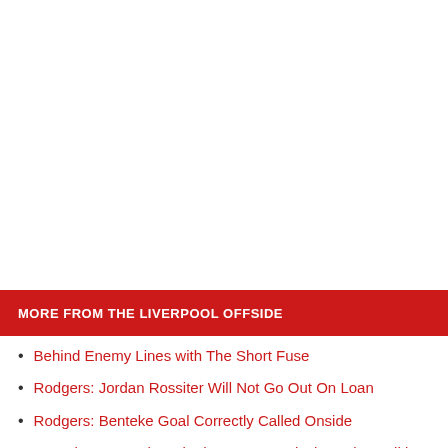MORE FROM THE LIVERPOOL OFFSIDE
Behind Enemy Lines with The Short Fuse
Rodgers: Jordan Rossiter Will Not Go Out On Loan
Rodgers: Benteke Goal Correctly Called Onside
Saturday Open Thread: Three Is A Magical Number Edition
Gary McAllister On Attacking Confidence